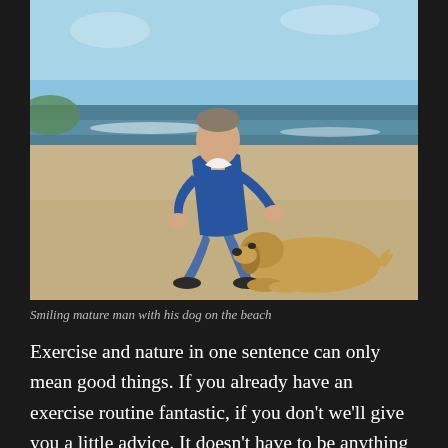[Figure (photo): A smiling mature man in a blue sweater crouching down to pet a golden Labrador dog lying on a sandy beach, with ocean waves and blue sky in the background.]
Smiling mature man with his dog on the beach
Exercise and nature in one sentence can only mean good things. If you already have an exercise routine fantastic, if you don't we'll give you a little advice. It doesn't have to be anything particularly hard. It's just important